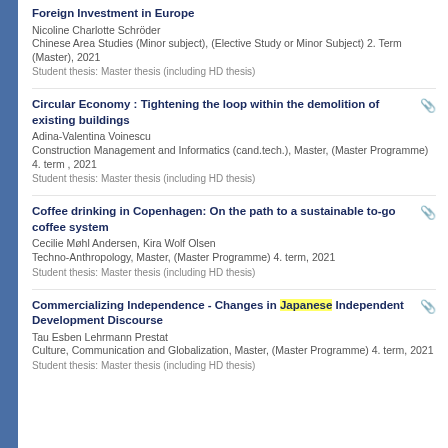Foreign Investment in Europe
Nicoline Charlotte Schröder
Chinese Area Studies (Minor subject), (Elective Study or Minor Subject) 2. Term (Master), 2021
Student thesis: Master thesis (including HD thesis)
Circular Economy : Tightening the loop within the demolition of existing buildings
Adina-Valentina Voinescu
Construction Management and Informatics (cand.tech.), Master, (Master Programme) 4. term , 2021
Student thesis: Master thesis (including HD thesis)
Coffee drinking in Copenhagen: On the path to a sustainable to-go coffee system
Cecilie Møhl Andersen, Kira Wolf Olsen
Techno-Anthropology, Master, (Master Programme) 4. term, 2021
Student thesis: Master thesis (including HD thesis)
Commercializing Independence - Changes in Japanese Independent Development Discourse
Tau Esben Lehrmann Prestat
Culture, Communication and Globalization, Master, (Master Programme) 4. term, 2021
Student thesis: Master thesis (including HD thesis)